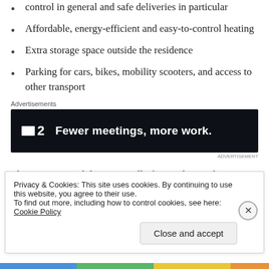control in general and safe deliveries in particular
Affordable, energy-efficient and easy-to-control heating
Extra storage space outside the residence
Parking for cars, bikes, mobility scooters, and access to other transport
Advertisements
[Figure (other): Advertisement banner: dark background with logo showing a square icon and '2', tagline reads 'Fewer meetings, more work.']
That's quite a wish list, especially for residences that are
Privacy & Cookies: This site uses cookies. By continuing to use this website, you agree to their use.
To find out more, including how to control cookies, see here: Cookie Policy
Close and accept